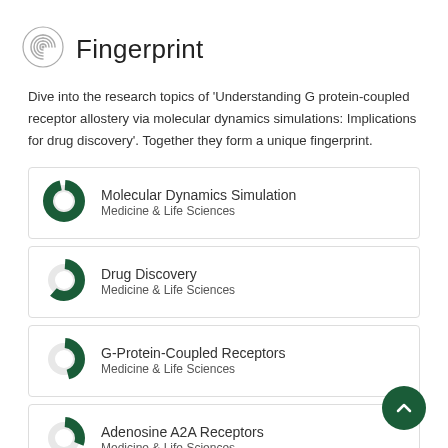Fingerprint
Dive into the research topics of 'Understanding G protein-coupled receptor allostery via molecular dynamics simulations: Implications for drug discovery'. Together they form a unique fingerprint.
Molecular Dynamics Simulation
Medicine & Life Sciences
Drug Discovery
Medicine & Life Sciences
G-Protein-Coupled Receptors
Medicine & Life Sciences
Adenosine A2A Receptors
Medicine & Life Sciences